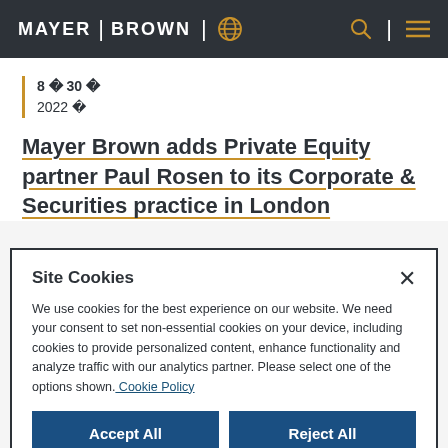MAYER | BROWN
8 🗓 30 🗓
2022 🗓
Mayer Brown adds Private Equity partner Paul Rosen to its Corporate & Securities practice in London
Site Cookies
We use cookies for the best experience on our website. We need your consent to set non-essential cookies on your device, including cookies to provide personalized content, enhance functionality and analyze traffic with our analytics partner. Please select one of the options shown. Cookie Policy
Accept All | Reject All